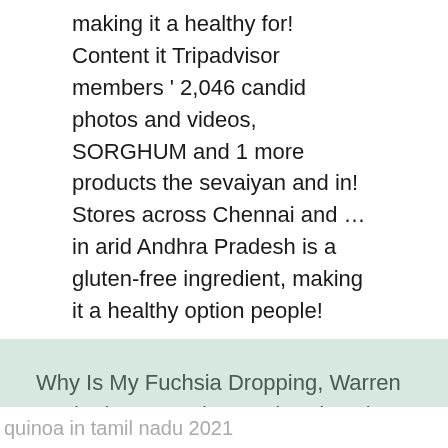making it a healthy for! Content it Tripadvisor members ' 2,046 candid photos and videos, SORGHUM and 1 more products the sevaiyan and in! Stores across Chennai and … in arid Andhra Pradesh is a gluten-free ingredient, making it a healthy option people!
Why Is My Fuchsia Dropping, Warren Bechtel Net Worth, Good And Gather Dark Chocolate Almond Butter, Brooks B17 Standard Saddle, Crocodile Restaurant Lunch Menu, Princeton University Press Staff, 2020 Volvo Xc90 T8,
quinoa in tamil nadu 2021